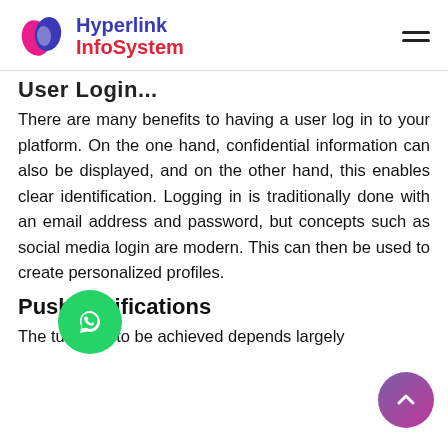Hyperlink InfoSystem
User Login
There are many benefits to having a user log in to your platform. On the one hand, confidential information can also be displayed, and on the other hand, this enables clear identification. Logging in is traditionally done with an email address and password, but concepts such as social media login are modern. This can then be used to create personalized profiles.
Push Notifications
The turnover to be achieved depends largely